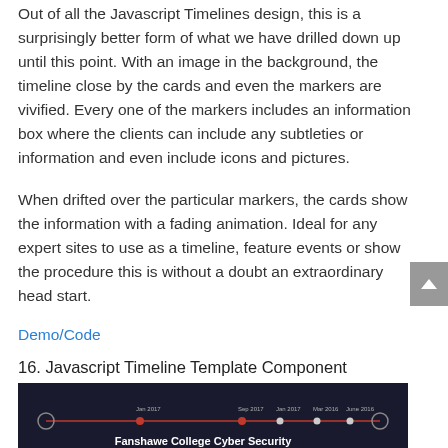Out of all the Javascript Timelines design, this is a surprisingly better form of what we have drilled down up until this point. With an image in the background, the timeline close by the cards and even the markers are vivified. Every one of the markers includes an information box where the clients can include any subtleties or information and even include icons and pictures.
When drifted over the particular markers, the cards show the information with a fading animation. Ideal for any expert sites to use as a timeline, feature events or show the procedure this is without a doubt an extraordinary head start.
Demo/Code
16. Javascript Timeline Template Component
[Figure (screenshot): Dark-themed Javascript timeline component screenshot showing a horizontal timeline with markers, dates (Jan 2017, Sep 2017, Jan 2017, Mar 2016, June 2016), and a card reading 'Fanshawe College Cyber Security' with 'September 2017' subtitle.]